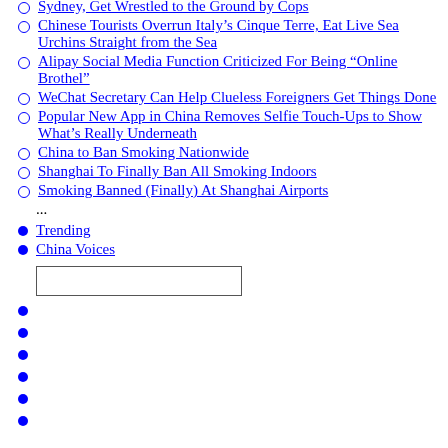Sydney, Get Wrestled to the Ground by Cops
Chinese Tourists Overrun Italy’s Cinque Terre, Eat Live Sea Urchins Straight from the Sea
Alipay Social Media Function Criticized For Being “Online Brothel”
WeChat Secretary Can Help Clueless Foreigners Get Things Done
Popular New App in China Removes Selfie Touch-Ups to Show What’s Really Underneath
China to Ban Smoking Nationwide
Shanghai To Finally Ban All Smoking Indoors
Smoking Banned (Finally) At Shanghai Airports
...
Trending
China Voices